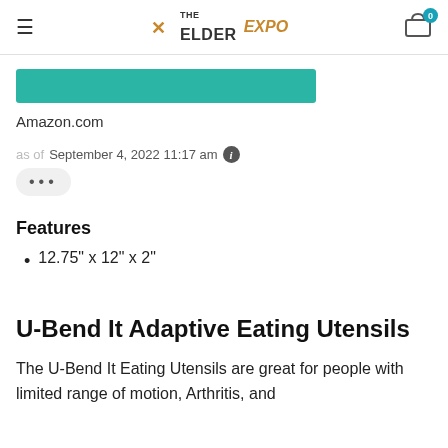THE ELDER EXPO
Amazon.com
as of September 4, 2022 11:17 am
Features
12.75" x 12" x 2"
U-Bend It Adaptive Eating Utensils
The U-Bend It Eating Utensils are great for people with limited range of motion, Arthritis, and